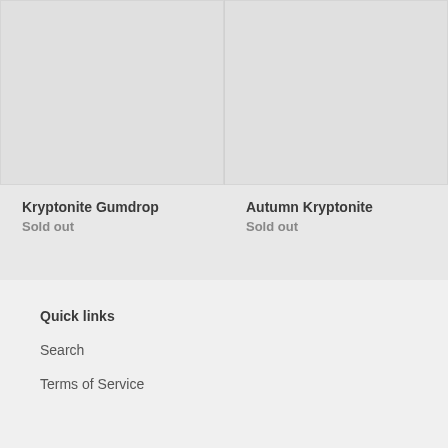[Figure (photo): Product image placeholder for Kryptonite Gumdrop - light gray rectangle]
[Figure (photo): Product image placeholder for Autumn Kryptonite - light gray rectangle]
Kryptonite Gumdrop
Sold out
Autumn Kryptonite
Sold out
Quick links
Search
Terms of Service